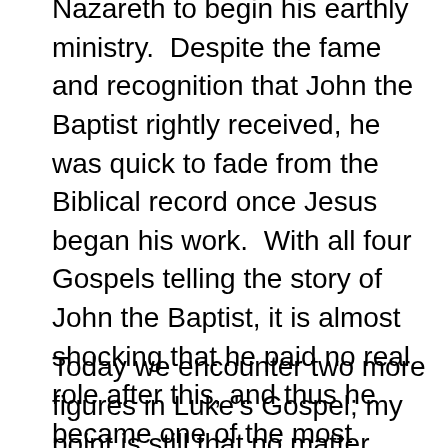Nazareth to begin his earthly ministry.  Despite the fame and recognition that John the Baptist rightly received, he was quick to fade from the Biblical record once Jesus began his work.  With all four Gospels telling the story of John the Baptist, it is almost shocking that he paid no real role after this, and thus he became one of the most famous second fiddles who ever lived. And again – I'm certain that we would all agree that – like the Apostle Paul, John the Baptist was anything but ordinary either.
Today we encounter two more figures in Luke's Gospel; my point is still that no matter what, those insignificant figures in...